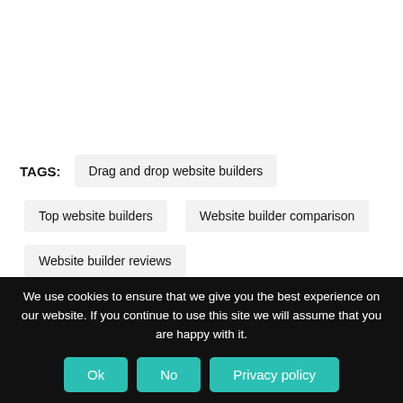TAGS:
Drag and drop website builders
Top website builders
Website builder comparison
Website builder reviews
We use cookies to ensure that we give you the best experience on our website. If you continue to use this site we will assume that you are happy with it.
Ok
No
Privacy policy